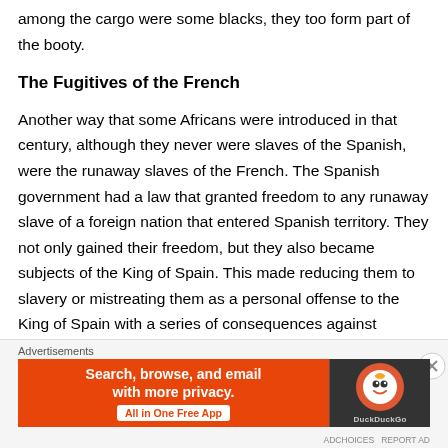among the cargo were some blacks, they too form part of the booty.
The Fugitives of the French
Another way that some Africans were introduced in that century, although they never were slaves of the Spanish, were the runaway slaves of the French. The Spanish government had a law that granted freedom to any runaway slave of a foreign nation that entered Spanish territory. They not only gained their freedom, but they also became subjects of the King of Spain. This made reducing them to slavery or mistreating them as a personal offense to the King of Spain with a series of consequences against
Advertisements
[Figure (infographic): DuckDuckGo advertisement banner: Search, browse, and email with more privacy. All in One Free App. DuckDuckGo logo on dark background.]